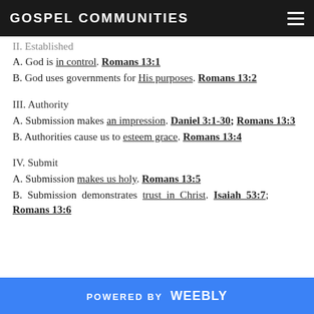GOSPEL COMMUNITIES
II. Established
A. God is in control. Romans 13:1
B. God uses governments for His purposes. Romans 13:2
III. Authority
A. Submission makes an impression. Daniel 3:1-30; Romans 13:3
B. Authorities cause us to esteem grace. Romans 13:4
IV. Submit
A. Submission makes us holy. Romans 13:5
B. Submission demonstrates trust in Christ. Isaiah 53:7; Romans 13:6
POWERED BY weebly